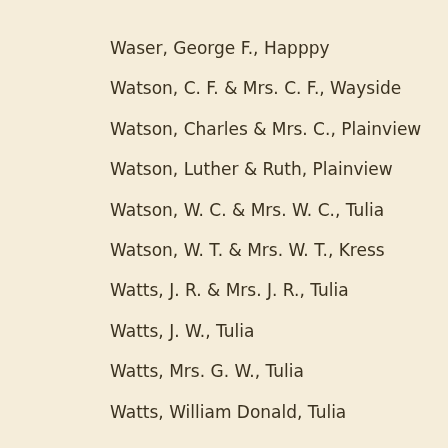Waser, George F., Happpy
Watson, C. F. & Mrs. C. F., Wayside
Watson, Charles & Mrs. C., Plainview
Watson, Luther & Ruth, Plainview
Watson, W. C. & Mrs. W. C., Tulia
Watson, W. T. & Mrs. W. T., Kress
Watts, J. R. & Mrs. J. R., Tulia
Watts, J. W., Tulia
Watts, Mrs. G. W., Tulia
Watts, William Donald, Tulia